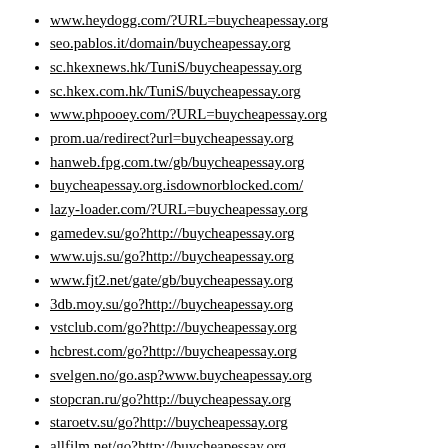www.heydogg.com/?URL=buycheapessay.org
seo.pablos.it/domain/buycheapessay.org
sc.hkexnews.hk/TuniS/buycheapessay.org
sc.hkex.com.hk/TuniS/buycheapessay.org
www.phpooey.com/?URL=buycheapessay.org
prom.ua/redirect?url=buycheapessay.org
hanweb.fpg.com.tw/gb/buycheapessay.org
buycheapessay.org.isdownorblocked.com/
lazy-loader.com/?URL=buycheapessay.org
gamedev.su/go?http://buycheapessay.org
www.ujs.su/go?http://buycheapessay.org
www.fjt2.net/gate/gb/buycheapessay.org
3db.moy.su/go?http://buycheapessay.org
vstclub.com/go?http://buycheapessay.org
hcbrest.com/go?http://buycheapessay.org
svelgen.no/go.asp?www.buycheapessay.org
stopcran.ru/go?http://buycheapessay.org
staroetv.su/go?http://buycheapessay.org
allfilm.net/go?http://buycheapessay.org